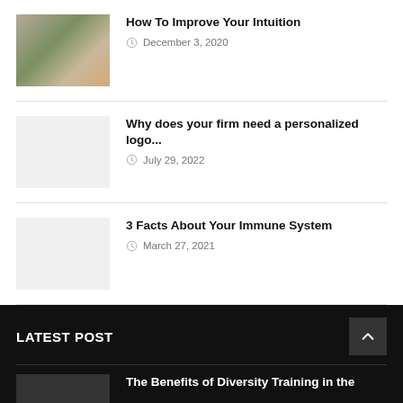[Figure (photo): Photo of a young woman outdoors]
How To Improve Your Intuition
December 3, 2020
[Figure (photo): Placeholder image (light gray)]
Why does your firm need a personalized logo...
July 29, 2022
[Figure (photo): Placeholder image (light gray)]
3 Facts About Your Immune System
March 27, 2021
LATEST POST
The Benefits of Diversity Training in the